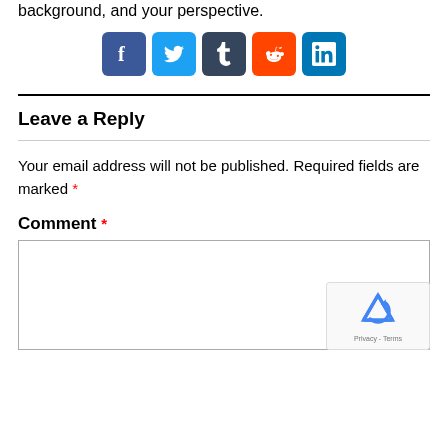background, and your perspective.
[Figure (infographic): Social media share icons: Facebook, Twitter, Tumblr, Reddit, LinkedIn]
Leave a Reply
Your email address will not be published. Required fields are marked *
Comment *
[Figure (other): reCAPTCHA widget with privacy and terms links]